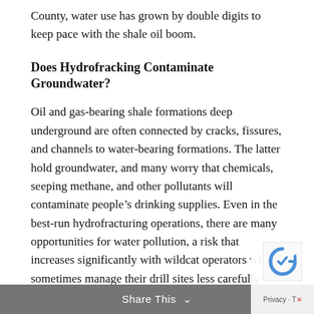County, water use has grown by double digits to keep pace with the shale oil boom.
Does Hydrofracking Contaminate Groundwater?
Oil and gas-bearing shale formations deep underground are often connected by cracks, fissures, and channels to water-bearing formations. The latter hold groundwater, and many worry that chemicals, seeping methane, and other pollutants will contaminate people's drinking supplies. Even in the best-run hydrofracturing operations, there are many opportunities for water pollution, a risk that increases significantly with wildcat operators who sometimes manage their drill sites less carefully than well-established firms.
Share This